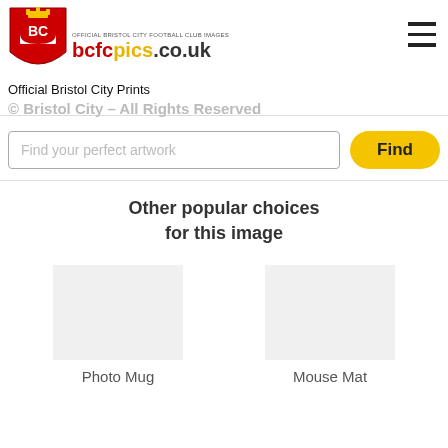[Figure (logo): Bristol City FC shield crest logo with red and yellow colors, alongside bcfcpics.co.uk text branding]
Official Bristol City Prints
© Bristol City – All Rights Reserved
Find your perfect artwork
Find
Other popular choices
for this image
Photo Mug
Mouse Mat